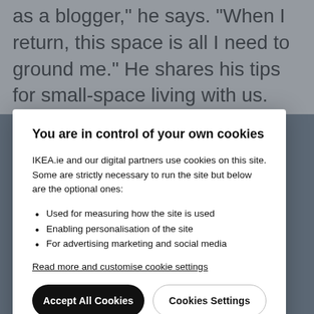as a blogger," he says. "When I return, this space is all I need to ground me." He shares his tips for small-space living with us.
You are in control of your own cookies
IKEA.ie and our digital partners use cookies on this site. Some are strictly necessary to run the site but below are the optional ones:
Used for measuring how the site is used
Enabling personalisation of the site
For advertising marketing and social media
Read more and customise cookie settings
Accept All Cookies
Cookies Settings